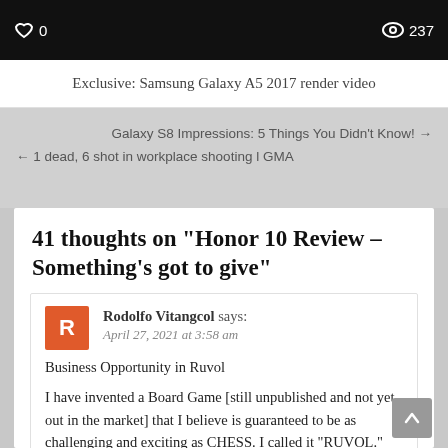[Figure (screenshot): Dark video thumbnail bar with heart icon showing 0 and eye icon showing 237]
Exclusive: Samsung Galaxy A5 2017 render video
Galaxy S8 Impressions: 5 Things You Didn't Know! →
← 1 dead, 6 shot in workplace shooting l GMA
41 thoughts on “Honor 10 Review – Something’s got to give”
Rodolfo Vitangcol says:
April 27, 2021 at 3:58 am
Business Opportunity in Ruvol
I have invented a Board Game [still unpublished and not yet out in the market] that I believe is guaranteed to be as challenging and exciting as CHESS. I called it “RUVOL.”
It is my hope that one day Ruvol may surpass chess as the